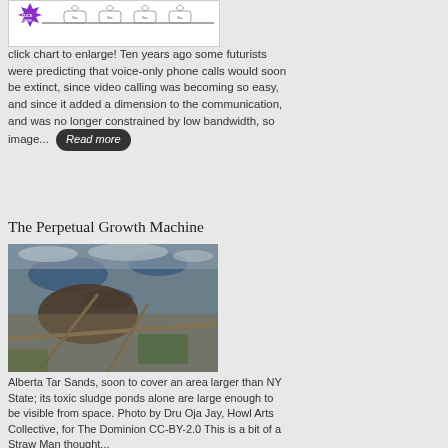[Figure (schematic): A flow diagram with purple starburst icon on the left and connected boxes/nodes across a horizontal line, partially visible (cropped at top)]
click chart to enlarge! Ten years ago some futurists were predicting that voice-only phone calls would soon be extinct, since video calling was becoming so easy, and since it added a dimension to the communication, and was no longer constrained by low bandwidth, so image... Read more
The Perpetual Growth Machine
[Figure (photo): Aerial photograph of Alberta Tar Sands showing a large open pit mining area with tailings ponds, roads, and excavated terrain visible from above]
Alberta Tar Sands, soon to cover an area larger than NY State; its toxic sludge ponds alone are large enough to be visible from space. Photo by Dru Oja Jay, Howl Arts Collective, for The Dominion CC-BY-2.0 This is a bit of a Straw Man thought...